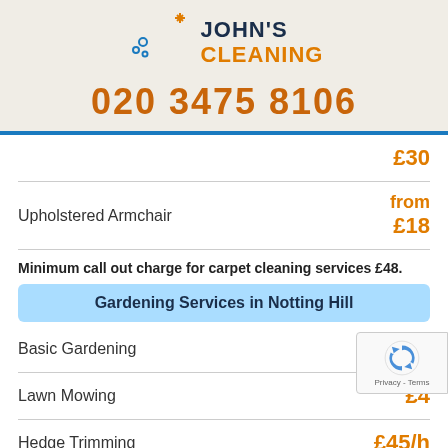[Figure (logo): John's Cleaning logo with crescent moon, sparkles, and bubbles]
020 3475 8106
| Service | Price |
| --- | --- |
|  | £30 |
| Upholstered Armchair | from £18 |
Minimum call out charge for carpet cleaning services £48.
Gardening Services in Notting Hill
| Service | Price |
| --- | --- |
| Basic Gardening | £45/h |
| Lawn Mowing | £45/h |
| Hedge Trimming | £45/h |